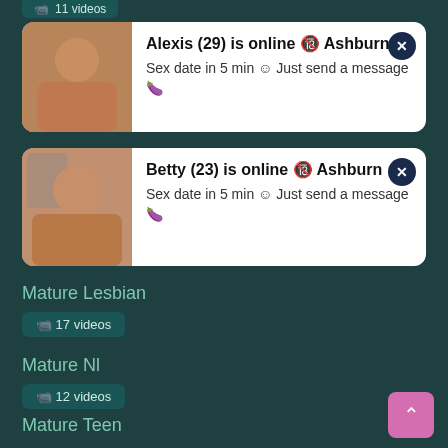11 videos
[Figure (photo): Ad card 1: Alexis (29) is online in Ashburn. Sex date in 5 min. Just send a message.]
[Figure (photo): Ad card 2: Betty (23) is online in Ashburn. Sex date in 5 min. Just send a message.]
Mature Lesbian
17 videos
Mature Nl
12 videos
Mature Teen